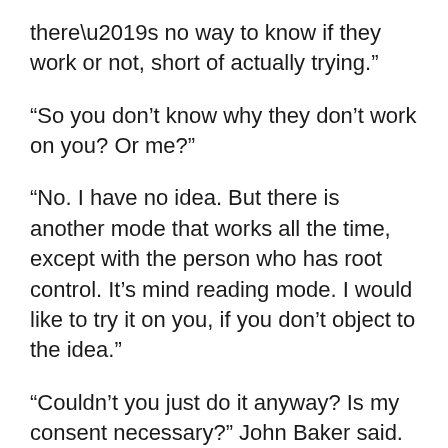there’s no way to know if they work or not, short of actually trying.”
“So you don’t know why they don’t work on you? Or me?”
“No. I have no idea. But there is another mode that works all the time, except with the person who has root control. It’s mind reading mode. I would like to try it on you, if you don’t object to the idea.”
“Couldn’t you just do it anyway? Is my consent necessary?” John Baker said.
“I could. I certainly could. But I wouldn’t want to. That would not be appropriate. I need your cooperation for the 24th Century Princess Angel Fund, after all. So, I would like to ask for your kind cooperation. And it’s not